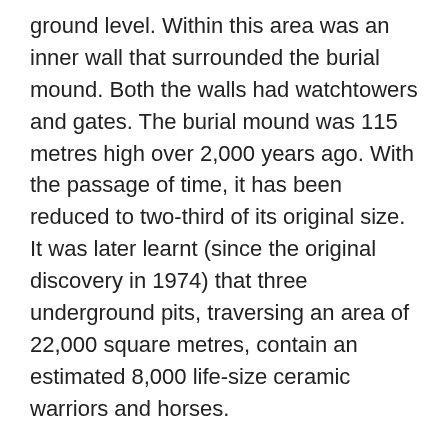ground level. Within this area was an inner wall that surrounded the burial mound. Both the walls had watchtowers and gates. The burial mound was 115 metres high over 2,000 years ago. With the passage of time, it has been reduced to two-third of its original size. It was later learnt (since the original discovery in 1974) that three underground pits, traversing an area of 22,000 square metres, contain an estimated 8,000 life-size ceramic warriors and horses.
As I tour the factory that describes the restoration process, I learn that all the terracotta figures were fashioned from local clay, weighing anything from 110 to 300 kilos each, with an average height of 1.8 metres. In the pits, the terracotta warriors and horses are arrayed in a practical battle formation, with different ranks of the army, ready to protect and serve. Their distinctive dress, demeanour, size